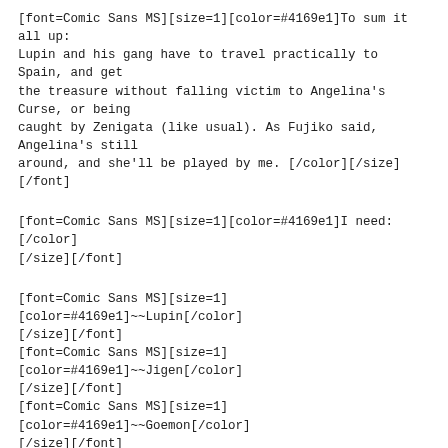[font=Comic Sans MS][size=1][color=#4169e1]To sum it all up: Lupin and his gang have to travel practically to Spain, and get the treasure without falling victim to Angelina's Curse, or being caught by Zenigata (like usual). As Fujiko said, Angelina's still around, and she'll be played by me. [/color][/size][/font]
[font=Comic Sans MS][size=1][color=#4169e1]I need:[/color][/size][/font]
[font=Comic Sans MS][size=1][color=#4169e1]~~Lupin[/color][/size][/font]
[font=Comic Sans MS][size=1][color=#4169e1]~~Jigen[/color][/size][/font]
[font=Comic Sans MS][size=1][color=#4169e1]~~Goemon[/color][/size][/font]
[strike][font=Comic Sans MS][size=1][color=#4169e1]~~Fujiko[/color][/size][/font][/strike]
[font=Comic Sans MS][size=1][color=#4169e1][strike]~~Zenigata[/strike][/color][/size][/font]